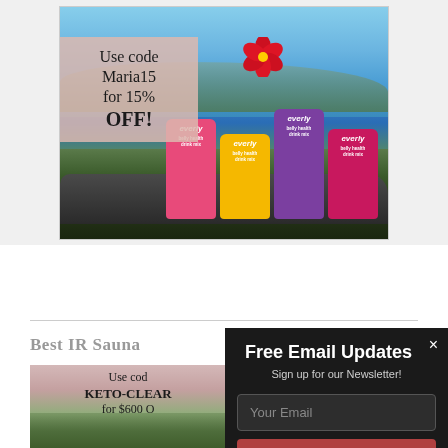[Figure (advertisement): Everly belly health drink mix advertisement showing colorful product pouches (pink, yellow, purple, magenta) on rocks with tropical background, palm trees and red hibiscus flower. Text overlay reads: Use code Maria15 for 15% OFF!]
Best IR Sauna
[Figure (advertisement): Partial advertisement visible on lower left showing text: Use code KETO-CLEAR for $600 O[ff] with scenic background]
[Figure (screenshot): Email newsletter signup popup overlay with dark background. Title: Free Email Updates. Subtitle: Sign up for our Newsletter! Input field labeled Your Email and a Subscribe Now button in red. Close X button in top right.]